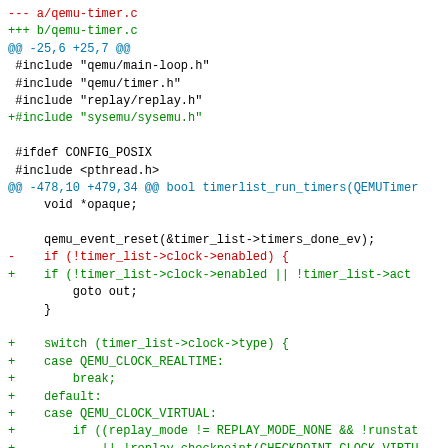--- a/qemu-timer.c
+++ b/qemu-timer.c
@@ -25,6 +25,7 @@
 #include "qemu/main-loop.h"
 #include "qemu/timer.h"
 #include "replay/replay.h"
+#include "sysemu/sysemu.h"

 #ifdef CONFIG_POSIX
 #include <pthread.h>
@@ -478,10 +479,34 @@ bool timerlist_run_timers(QEMUTimer
     void *opaque;

     qemu_event_reset(&timer_list->timers_done_ev);
-    if (!timer_list->clock->enabled) {
+    if (!timer_list->clock->enabled || !timer_list->act
         goto out;
     }

+    switch (timer_list->clock->type) {
+    case QEMU_CLOCK_REALTIME:
+        break;
+    default:
+    case QEMU_CLOCK_VIRTUAL:
+        if ((replay_mode != REPLAY_MODE_NONE && !runstat
+            || !replay_checkpoint(CHECKPOINT_CLOCK_VIRTU
+            goto out;
+        }
+        break;
+    case QEMU_CLOCK_HOST: